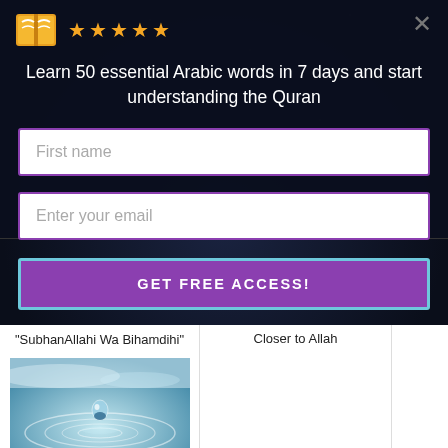[Figure (screenshot): Modal popup overlay on a dark starfield background with book icon, 5 gold stars, headline text, two input fields (First name, Enter your email), and a purple GET FREE ACCESS button]
Learn 50 essential Arabic words in 7 days and start understanding the Quran
First name
Enter your email
GET FREE ACCESS!
"SubhanAllahi Wa Bihamdihi"
Closer to Allah
[Figure (photo): A water droplet falling into water creating ripples, blue-teal tones]